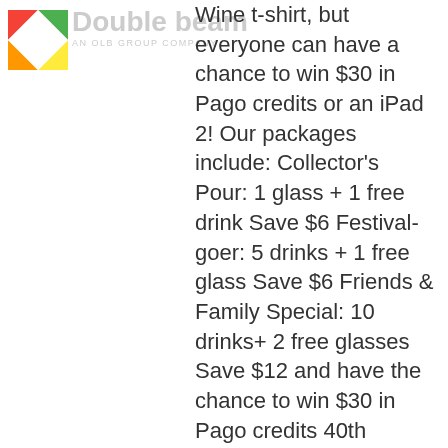Double beam AN OLB GROUP COMPANY
Wine t-shirt, but everyone can have a chance to win $30 in Pago credits or an iPad 2! Our packages include: Collector's Pour: 1 glass + 1 free drink Save $6 Festival-goer: 5 drinks + 1 free glass Save $6 Friends & Family Special: 10 drinks+ 2 free glasses Save $12 and have the chance to win $30 in Pago credits 40th Anniversary: 25 drinks + 5 free glasses Save $30 and have the chance to win an iPad 2 (the winner will be announced Sunday, Sept. 11) Limited supplies are available. They're going fast, so download the app and buy your drink package now. The festival, located on Castro